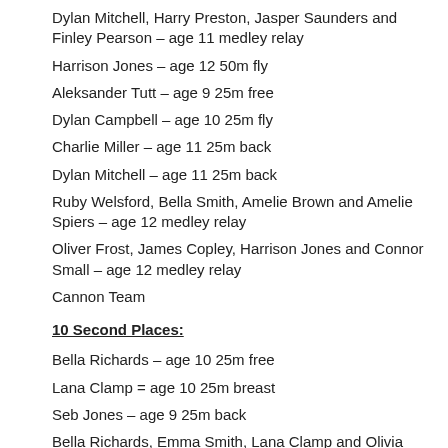Dylan Mitchell, Harry Preston, Jasper Saunders and Finley Pearson – age 11 medley relay
Harrison Jones – age 12 50m fly
Aleksander Tutt – age 9 25m free
Dylan Campbell – age 10 25m fly
Charlie Miller – age 11 25m back
Dylan Mitchell – age 11 25m back
Ruby Welsford, Bella Smith, Amelie Brown and Amelie Spiers – age 12 medley relay
Oliver Frost, James Copley, Harrison Jones and Connor Small – age 12 medley relay
Cannon Team
10 Second Places:
Bella Richards – age 10 25m free
Lana Clamp = age 10 25m breast
Seb Jones – age 9 25m back
Bella Richards, Emma Smith, Lana Clamp and Olivia Small